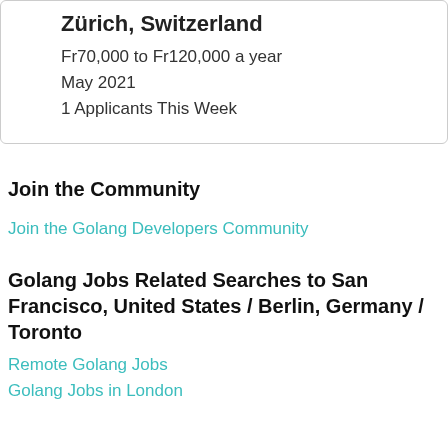Zürich, Switzerland
Fr70,000 to Fr120,000 a year
May 2021
1 Applicants This Week
Join the Community
Join the Golang Developers Community
Golang Jobs Related Searches to San Francisco, United States / Berlin, Germany / Toronto
Remote Golang Jobs
Golang Jobs in London